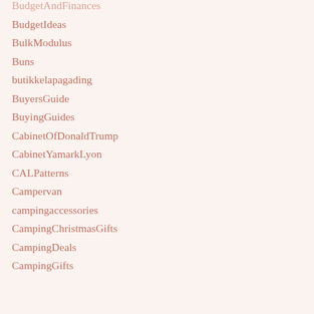BudgetAndFinances
BudgetIdeas
BulkModulus
Buns
butikkelapagading
BuyersGuide
BuyingGuides
CabinetOfDonaldTrump
CabinetYamarkLyon
CALPatterns
Campervan
campingaccessories
CampingChristmasGifts
CampingDeals
CampingGifts